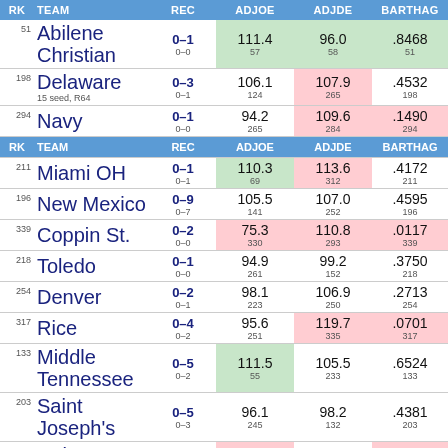| RK | TEAM | REC | ADJOE | ADJDE | BARTHAG |
| --- | --- | --- | --- | --- | --- |
| 51 | Abilene Christian | 0–1
0–0 | 111.4
57 | 96.0
58 | .8468
51 |
| 198 | Delaware
15 seed, R64 | 0–3
0–1 | 106.1
124 | 107.9
265 | .4532
198 |
| 294 | Navy | 0–1
0–0 | 94.2
265 | 109.6
284 | .1490
294 |
| 211 | Miami OH | 0–1
0–1 | 110.3
69 | 113.6
312 | .4172
211 |
| 196 | New Mexico | 0–9
0–7 | 105.5
141 | 107.0
252 | .4595
196 |
| 339 | Coppin St. | 0–2
0–0 | 75.3
330 | 110.8
293 | .0117
339 |
| 218 | Toledo | 0–1
0–0 | 94.9
261 | 99.2
152 | .3750
218 |
| 254 | Denver | 0–2
0–1 | 98.1
223 | 106.9
250 | .2713
254 |
| 317 | Rice | 0–4
0–2 | 95.6
251 | 119.7
335 | .0701
317 |
| 133 | Middle Tennessee | 0–5
0–2 | 111.5
55 | 105.5
233 | .6524
133 |
| 203 | Saint Joseph's | 0–5
0–3 | 96.1
245 | 98.2
132 | .4381
203 |
| 321 | Cal St. Northridge | 0–4
0–0 | 84.0
319 | 107.2
255 | .0574
321 |